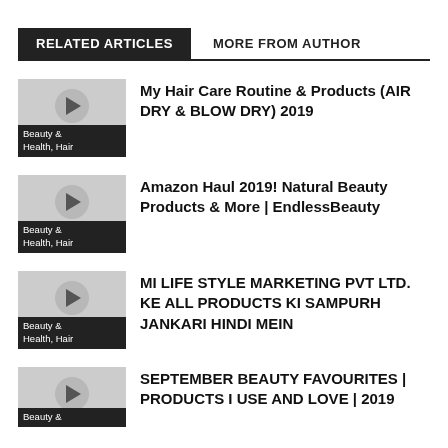RELATED ARTICLES | MORE FROM AUTHOR
[Figure (screenshot): Thumbnail with play button and label 'Beauty & Health, Hair']
My Hair Care Routine & Products (AIR DRY & BLOW DRY) 2019
[Figure (screenshot): Thumbnail with play button and label 'Beauty & Health, Hair']
Amazon Haul 2019! Natural Beauty Products & More | EndlessBeauty
[Figure (screenshot): Thumbnail with play button and label 'Beauty & Health, Hair']
MI LIFE STYLE MARKETING PVT LTD. KE ALL PRODUCTS KI SAMPURH JANKARI HINDI MEIN
[Figure (screenshot): Thumbnail with play button and label 'Beauty &']
SEPTEMBER BEAUTY FAVOURITES | PRODUCTS I USE AND LOVE | 2019